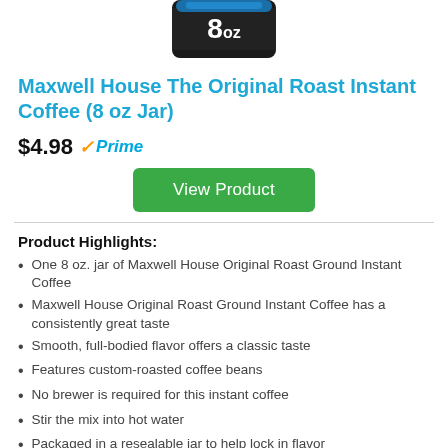[Figure (photo): Product image of Maxwell House 8 oz jar of instant coffee, showing the bottom portion of the jar with '8oz' text on a dark label]
Maxwell House The Original Roast Instant Coffee (8 oz Jar)
$4.98 Prime
View Product
Product Highlights:
One 8 oz. jar of Maxwell House Original Roast Ground Instant Coffee
Maxwell House Original Roast Ground Instant Coffee has a consistently great taste
Smooth, full-bodied flavor offers a classic taste
Features custom-roasted coffee beans
No brewer is required for this instant coffee
Stir the mix into hot water
Packaged in a resealable jar to help lock in flavor